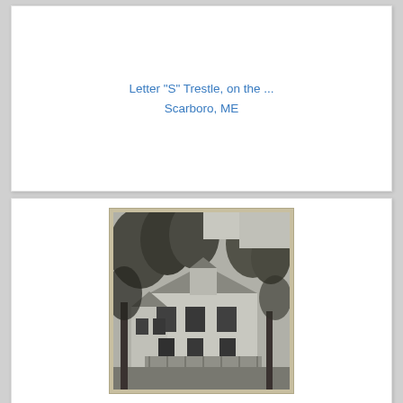Letter "S" Trestle, on the ... Scarboro, ME
[Figure (photo): Black and white photograph of a Victorian-style house surrounded by trees, partially visible, cropped at the bottom.]